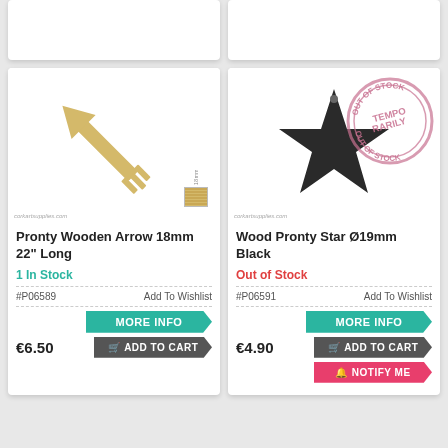[Figure (photo): Partial top of two product cards visible at top of page]
[Figure (photo): Pronty Wooden Arrow 18mm 22 inch Long product image showing a gold/wooden arrow]
Pronty Wooden Arrow 18mm 22" Long
1 In Stock
#P06589
Add To Wishlist
MORE INFO
€6.50
ADD TO CART
[Figure (photo): Wood Pronty Star Ø19mm Black product image showing a dark black star shape with Out of Stock stamp overlay]
Wood Pronty Star Ø19mm Black
Out of Stock
#P06591
Add To Wishlist
MORE INFO
€4.90
ADD TO CART
NOTIFY ME